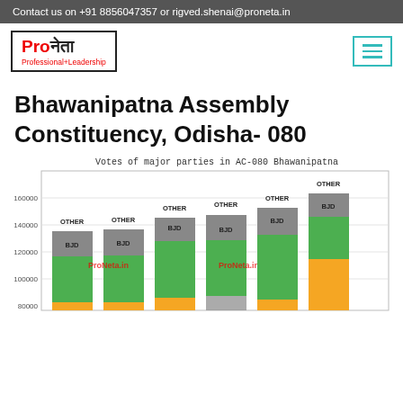Contact us on +91 8856047357 or rigved.shenai@proneta.in
[Figure (logo): ProNeta logo with red 'Pro' and black Hindi/English text, tagline Professional+Leadership]
Bhawanipatna Assembly Constituency, Odisha- 080
[Figure (stacked-bar-chart): Stacked bar chart showing votes of major parties (BJD, OTHER, and another party) across multiple election years in AC-080 Bhawanipatna. Y-axis shows votes from ~80000 to 160000+. Watermark: ProNeta.in]